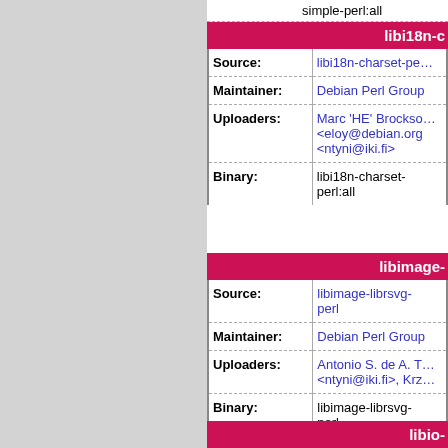simple-perl:all
libi18n-c
| Field | Value |
| --- | --- |
| Source: | libi18n-charset-pe... |
| Maintainer: | Debian Perl Group |
| Uploaders: | Marc 'HE' Brockso... <eloy@debian.org> <ntyni@iki.fi> |
| Binary: | libi18n-charset-perl:all |
libimage-
| Field | Value |
| --- | --- |
| Source: | libimage-librsvg-perl |
| Maintainer: | Debian Perl Group |
| Uploaders: | Antonio S. de A. T... <ntyni@iki.fi>, Krz... |
| Binary: | libimage-librsvg-perl |
libio-